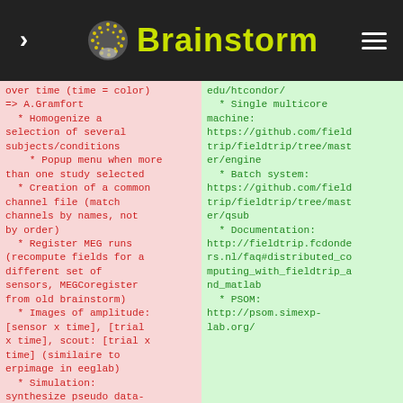Brainstorm
over time (time = color)
=> A.Gramfort
  * Homogenize a selection of several subjects/conditions
    * Popup menu when more than one study selected
  * Creation of a common channel file (match channels by names, not by order)
  * Register MEG runs (recompute fields for a different set of sensors, MEGCoregister from old brainstorm)
  * Images of amplitude: [sensor x time], [trial x time], scout: [trial x time] (similaire to erpimage in eeglab)
  * Simulation: synthesize pseudo data-files from a cortex patch (duration,
edu/htcondor/
  * Single multicore machine: https://github.com/fieldtrip/fieldtrip/tree/master/engine
  * Batch system: https://github.com/fieldtrip/fieldtrip/tree/master/qsub
  * Documentation: http://fieldtrip.fcdonders.nl/faq#distributed_computing_with_fieldtrip_and_matlab
  * PSOM: http://psom.simexp-lab.org/